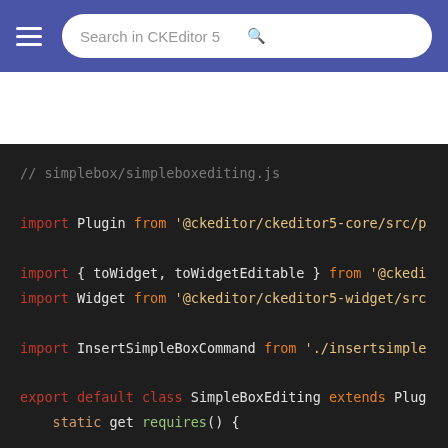Search in CKEditor 5
[Figure (screenshot): Dark-themed code editor screenshot showing JavaScript source code for simplebox/simpleboxediting.js with syntax highlighting. Code includes import statements for Plugin, toWidget, toWidgetEditable, Widget, InsertSimpleBoxCommand, and an export default class SimpleBoxEditing extends Plugin with static get requires() and init() methods.]